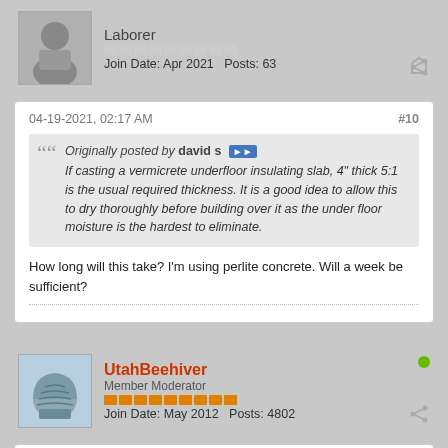Laborer
Join Date: Apr 2021   Posts: 63
04-19-2021, 02:17 AM
#10
Originally posted by david s — If casting a vermicrete underfloor insulating slab, 4" thick 5:1 is the usual required thickness. It is a good idea to allow this to dry thoroughly before building over it as the under floor moisture is the hardest to eliminate.
How long will this take? I'm using perlite concrete. Will a week be sufficient?
UtahBeehiver
Member Moderator
Join Date: May 2012   Posts: 4802
04-19-2021, 06:56 AM
#11
David S uses a cheap soil moisture meter to check for moisture. A week will not be enough time for 4" of pcrete to dry. Could be as long as 3-4